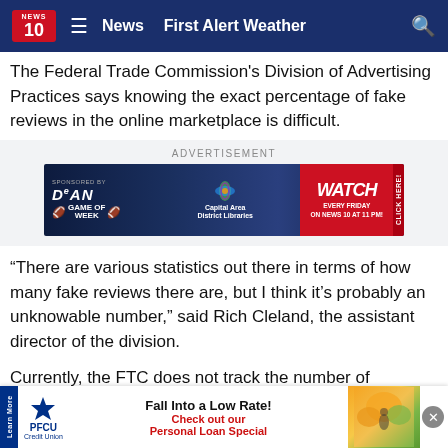News 10 | News | First Alert Weather
The Federal Trade Commission's Division of Advertising Practices says knowing the exact percentage of fake reviews in the online marketplace is difficult.
[Figure (other): Advertisement banner: Dean Bank Game of the Week sponsored ad with Capital Area District Libraries and News 10. 'WATCH EVERY FRIDAY ON NEWS 10 AT 11 PM! CLICK HERE!']
“There are various statistics out there in terms of how many fake reviews there are, but I think it’s probably an unknowable number,” said Rich Cleland, the assistant director of the division.
Currently, the FTC does not track the number of complaints that some r... paid to
[Figure (other): PFCU Credit Union bottom advertisement overlay: 'Fall Into a Low Rate! Check out our Personal Loan Special' with person jumping in autumn leaves image. Learn More bar on left side.]